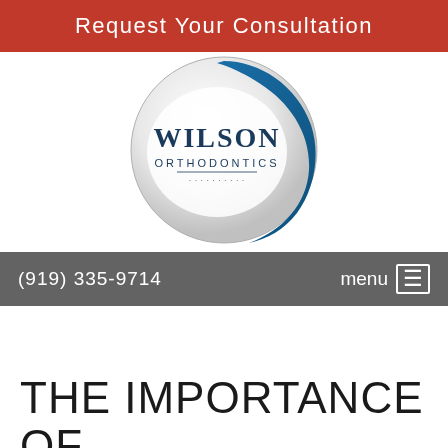Request Your Consultation
[Figure (logo): Wilson Orthodontics circular logo with blue swoosh and dark blue text]
(919) 335-9714   menu ☰
THE IMPORTANCE OF
WEARING YOUR MOUTHGUARD FOR WINTER (watermark/background text, partially visible)
Accept and Close ✕
Your browser settings do not allow cross-site tracking for advertising. Click on this page to allow AdRoll to use cross-site tracking to tailor ads to you. Learn more or opt out of this AdRoll tracking by clicking here. This message only appears once.